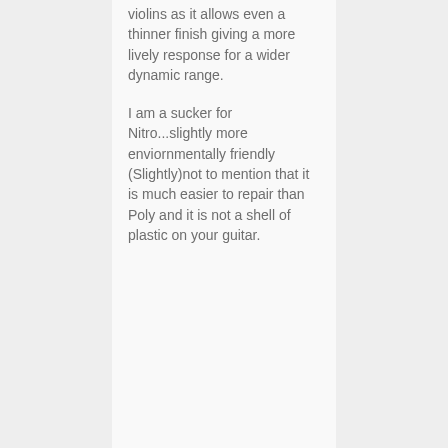violins as it allows even a thinner finish giving a more lively response for a wider dynamic range.
I am a sucker for Nitro...slightly more enviornmentally friendly (Slightly)not to mention that it is much easier to repair than Poly and it is not a shell of plastic on your guitar.